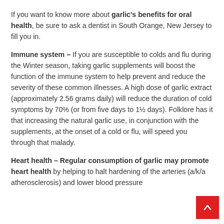If you want to know more about garlic's benefits for oral health, be sure to ask a dentist in South Orange, New Jersey to fill you in.
Immune system – If you are susceptible to colds and flu during the Winter season, taking garlic supplements will boost the function of the immune system to help prevent and reduce the severity of these common illnesses. A high dose of garlic extract (approximately 2.56 grams daily) will reduce the duration of cold symptoms by 70% (or from five days to 1½ days). Folklore has it that increasing the natural garlic use, in conjunction with the supplements, at the onset of a cold or flu, will speed you through that malady.
Heart health – Regular consumption of garlic may promote heart health by helping to halt hardening of the arteries (a/k/a atherosclerosis) and lower blood pressure